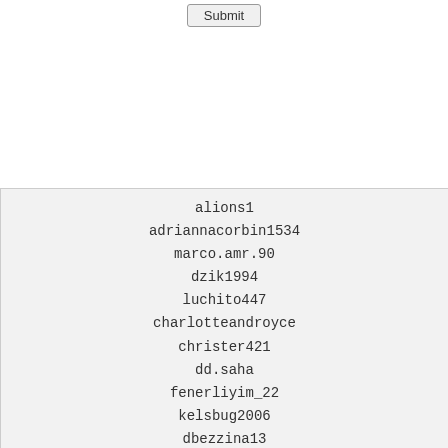[Figure (screenshot): A Submit button rendered as a UI element at the top of the page]
alions1
adriannacorbin1534
marco.amr.90
dzik1994
luchito447
charlotteandroyce
christer421
dd.saha
fenerliyim_22
kelsbug2006
dbezzina13
lenok230184
kiruhaboy
koffiserenastephanie
ag464691